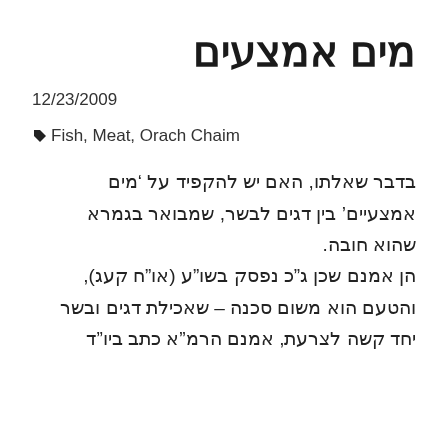מים אמצעים
12/23/2009
Fish, Meat, Orach Chaim
בדבר שאלתו, האם יש להקפיד על 'מים אמצעיים' בין דגים לבשר, שמבואר בגמרא שהוא חובה. הן אמנם שכן ג"כ נפסק בשו"ע (או"ח קעג), והטעם הוא משום סכנה – שאכילת דגים ובשר יחד קשה לצרעת, אמנם הרמ"א כתב ביו"ד